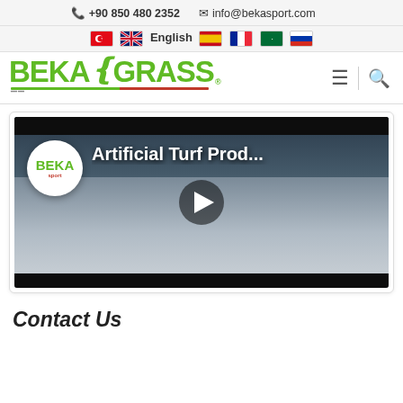+90 850 480 2352   info@bekasport.com
English (language selector with flags: Turkish, English, Spanish, French, Arabic, Russian)
[Figure (logo): BekaGrass logo with green text and leaf motif, hamburger menu and search icons]
[Figure (screenshot): Video thumbnail showing Beka Sport logo circle and text 'Artificial Turf Prod...' with a play button, aerial view of industrial buildings]
Contact Us